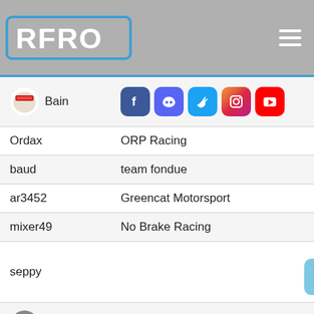[Figure (logo): RFRO racing app logo - white block letters on grey background with blue border]
| Driver | Team | Points |
| --- | --- | --- |
| Bain |  | 192 |
| Ordax | ORP Racing | 202 |
| baud | team fondue | 162 |
| ar3452 | Greencat Motorsport | 449 |
| mixer49 | No Brake Racing | 170 |
| seppy |  | 142 |
| Alligator80 | CPP Racing | 205 |